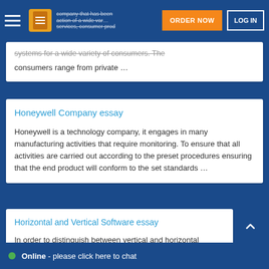ORDER NOW | LOG IN
systems for a wide variety of consumers. The consumers range from private …
Honeywell Company essay
Honeywell is a technology company, it engages in many manufacturing activities that require monitoring. To ensure that all activities are carried out according to the preset procedures ensuring that the end product will conform to the set standards …
Horizontal and Vertical Software essay
In order to distinguish between vertical and horizontal market software, it is essential to commence by estab… horizontal market e… occurring that …